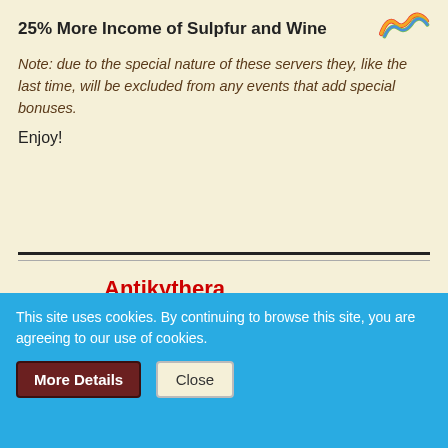25% More Income of Sulpfur and Wine
[Figure (logo): Colorful wave-like logo in red, orange, green, and blue]
Note: due to the special nature of these servers they, like the last time, will be excluded from any events that add special bonuses.
Enjoy!
Antikythera
[EN] SGO
[Figure (illustration): SGO game banner with ribbon design and game imagery]
This site uses cookies. By continuing to browse this site, you are agreeing to our use of cookies.